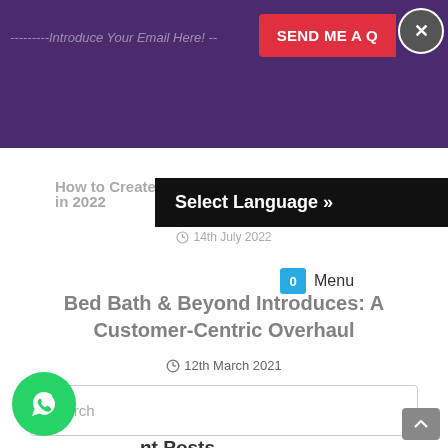---------Introduce Your Email Here! -- SEND ME A Q
Select Language »
How to Create a Great Socia... in 2022
14th July 2022
0  Menu
Bed Bath & Beyond Introduces: A Customer-Centric Overhaul
12th March 2021
Search
nt Posts